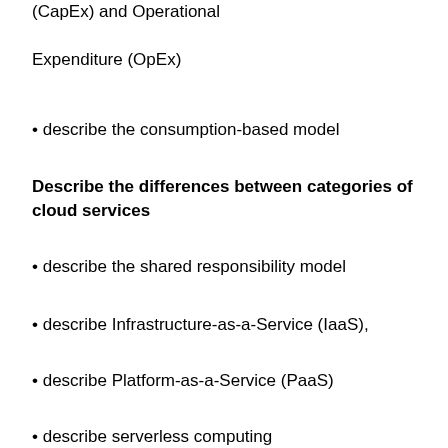(CapEx) and Operational Expenditure (OpEx)
describe the consumption-based model
Describe the differences between categories of cloud services
describe the shared responsibility model
describe Infrastructure-as-a-Service (IaaS),
describe Platform-as-a-Service (PaaS)
describe serverless computing
describe Software-as-a-Service (SaaS)